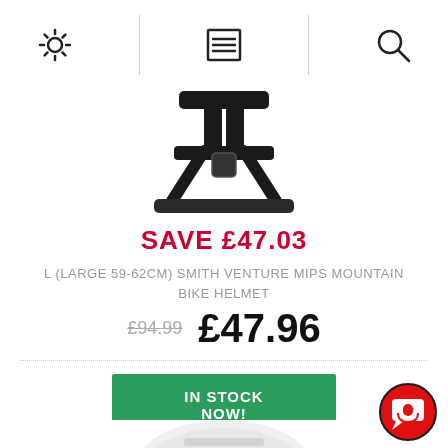[Figure (screenshot): Navigation bar with gear/settings icon, menu/list icon, and search icon]
[Figure (photo): Partial view of a black mountain bike helmet showing chin straps and retention system from above]
SAVE £47.03
L (LARGE 59-62CM) SMITH VENTURE MIPS MOUNTAIN BIKE HELMET
£94.99  £47.96
IN STOCK NOW!
[Figure (photo): Partial view of a white mountain bike helmet visible at the bottom of the page]
[Figure (illustration): Red circular chat/support button in the bottom right corner]